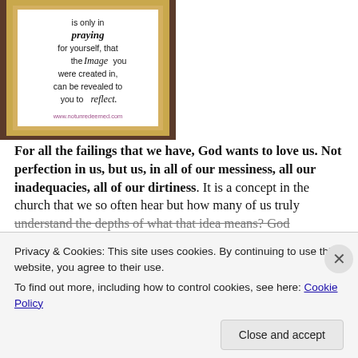[Figure (illustration): Framed inspirational quote image with text in a gold frame on dark background. Text reads: 'is only in praying for yourself, that the Image you were created in, can be revealed to you to reflect. www.notunredeemed.com']
For all the failings that we have, God wants to love us. Not perfection in us, but us, in all of our messiness, all our inadequacies, all of our dirtiness. It is a concept in the church that we so often hear but how many of us truly understand the depths of what that idea means? God
Privacy & Cookies: This site uses cookies. By continuing to use this website, you agree to their use. To find out more, including how to control cookies, see here: Cookie Policy
Close and accept